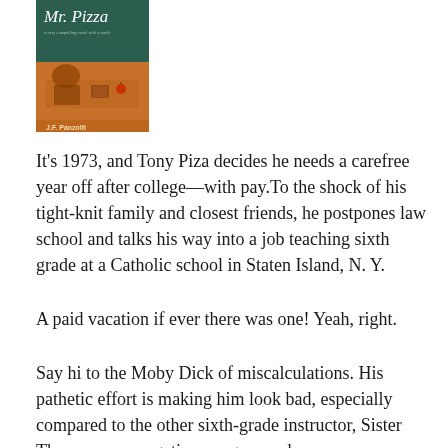[Figure (photo): Book cover of 'Mr. Pizza' by J.F. Panzolfi, showing the title in white italic script on a dark green chalkboard background (top half) and a classroom/teacher scene with an orange background (bottom half) with the author name at the bottom.]
It's 1973, and Tony Piza decides he needs a carefree year off after college—with pay.To the shock of his tight-knit family and closest friends, he postpones law school and talks his way into a job teaching sixth grade at a Catholic school in Staten Island, N. Y.
A paid vacation if ever there was one! Yeah, right.
Say hi to the Moby Dick of miscalculations. His pathetic effort is making him look bad, especially compared to the other sixth-grade instructor, Sister Theresa, an energetic young nun whose sunny disposition could have turned